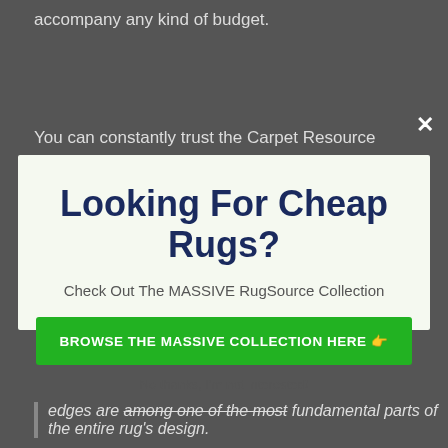accompany any kind of budget.
You can constantly trust the Carpet Resource
[Figure (screenshot): Modal popup with title 'Looking For Cheap Rugs?', subtitle 'Check Out The MASSIVE RugSource Collection', a green call-to-action button 'BROWSE THE MASSIVE COLLECTION HERE 👉', and a dismiss link 'No thanks, I'm not interested!' on a light greenish-white background.]
edges are among one of the most fundamental parts of the entire rug's design.